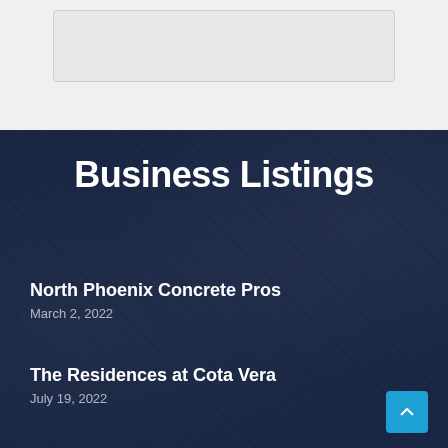[Figure (screenshot): Top white/light grey section with a card or image placeholder area]
Business Listings
North Phoenix Concrete Pros
March 2, 2022
The Residences at Cota Vera
July 19, 2022